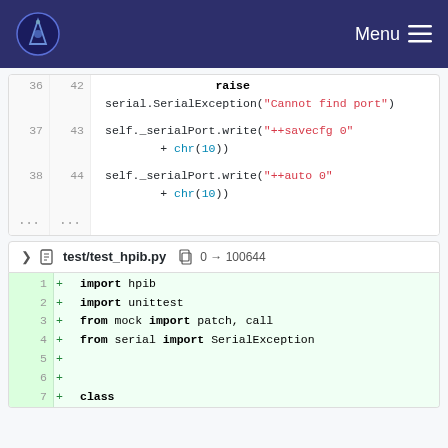Menu
[Figure (screenshot): Code diff snippet showing Python serial port code lines 36-44 with raise serial.SerialException and self._serialPort.write calls]
test/test_hpib.py  0 → 100644
[Figure (screenshot): Added Python code lines 1-7: import hpib, import unittest, from mock import patch call, from serial import SerialException, blank lines, class keyword]